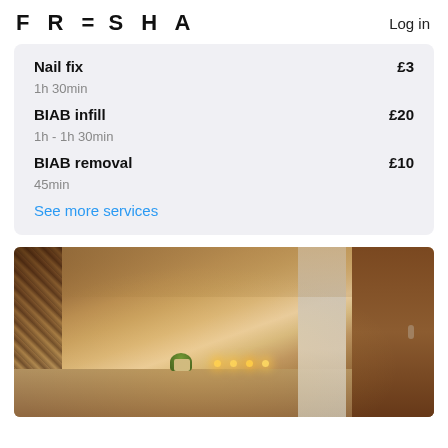FRESHA  Log in
Nail fix  £3
1h 30min
BIAB infill  £20
1h - 1h 30min
BIAB removal  £10
45min
See more services
[Figure (photo): Interior photo of a beauty/nail salon room with warm lighting, candles on a counter, a small potted plant, white curtain/robe hanging, wooden furniture and patterned wallpaper on left side]